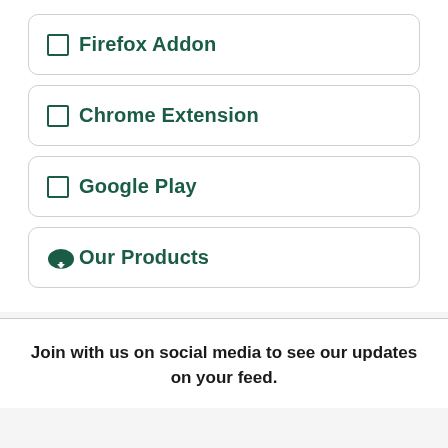Firefox Addon
Chrome Extension
Google Play
Our Products
Join with us on social media to see our updates on your feed.